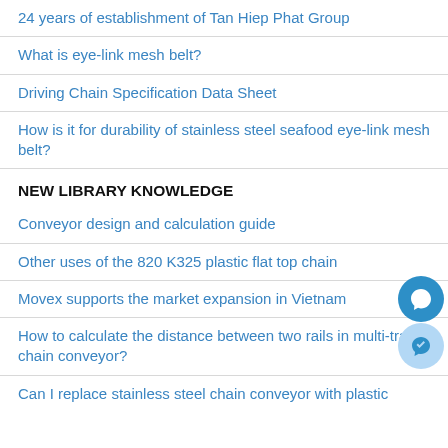24 years of establishment of Tan Hiep Phat Group
What is eye-link mesh belt?
Driving Chain Specification Data Sheet
How is it for durability of stainless steel seafood eye-link mesh belt?
NEW LIBRARY KNOWLEDGE
Conveyor design and calculation guide
Other uses of the 820 K325 plastic flat top chain
Movex supports the market expansion in Vietnam
How to calculate the distance between two rails in multi-track chain conveyor?
Can I replace stainless steel chain conveyor with plastic